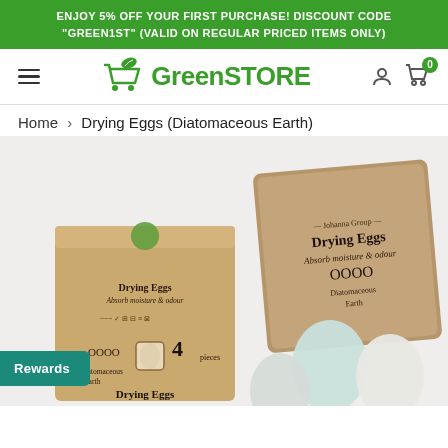ENJOY 5% OFF YOUR FIRST PURCHASE! DISCOUNT CODE "GREEN1ST" (VALID ON REGULAR PRICED ITEMS ONLY)
[Figure (logo): GreenSTORE logo with shopping cart and leaf icon]
Home › Drying Eggs (Diatomaceous Earth)
[Figure (photo): Product photo of Drying Eggs (Diatomaceous Earth) — kraft cardboard egg carton with 4 white/light blue clay/diatomaceous earth drying eggs, open carton lid showing branding 'Johanna Group Drying Eggs Absorb moisture & odour OOOO Diatomaceous Earth']
Rewards